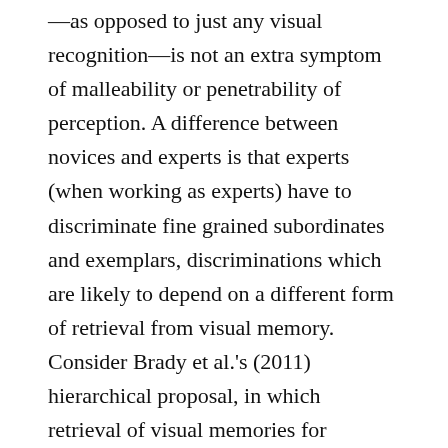—as opposed to just any visual recognition—is not an extra symptom of malleability or penetrability of perception. A difference between novices and experts is that experts (when working as experts) have to discriminate fine grained subordinates and exemplars, discriminations which are likely to depend on a different form of retrieval from visual memory. Consider Brady et al.'s (2011) hierarchical proposal, in which retrieval of visual memories for exemplars and subordinate categories depends on an initial coarse (basic-level) categorization. Completion of such a process would take longer than basic-level categorization, even for experts, consistently with the 200 ms timespan of the